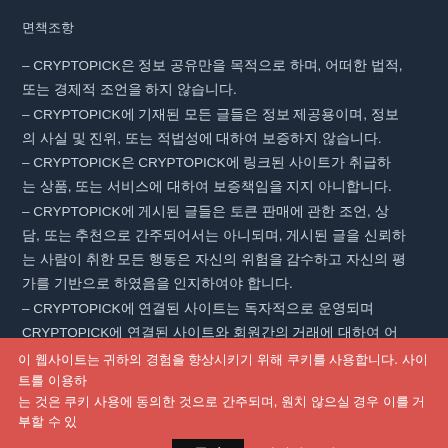면책조항
– CRYPTOPICK은 정보 공유만을 목적으로 하며, 어떠한 법적, 또는 경제적 조언을 하지 않습니다.
– CRYPTOPICK에 기재된 모든 글들은 정보 제공용이며, 정보의 사실 및 진위, 또는 적법성에 대하여 보증하지 않습니다.
– CRYPTOPICK은 CRYPTOPICK에 링크된 사이트가 취급하는 상품, 또는 서비스에 대하여 보증책임을 지지 아니합니다.
– CRYPTOPICK에 게시된 글들은 토큰 판매에 관한 조언, 상담, 또는 추천으로 간주되어서는 아니되며, 게시된 글을 신뢰하는 사람이 취한 모든 행동은 자신의 위험을 감수하고 자신의 평가를 기반으로 하였음을 인지하여야 합니다.
– CRYPTOPICK에 연결된 사이트는 독자적으로 운영되며 CRYPTOPICK에 연결된 사이트와 회원간의 거래에 대하여 어떠한 책임도 지지 아니합니다.
이 웹사이트는 귀하의 경험을 향상시키기 위해 쿠키를 사용합니다. 사이트를 이용하는 것은 쿠키 사용에 동의한 것으로 간주되며, 원치 않으실 경우 이를 거부할 수 있습니다.  동의  자세히 보기